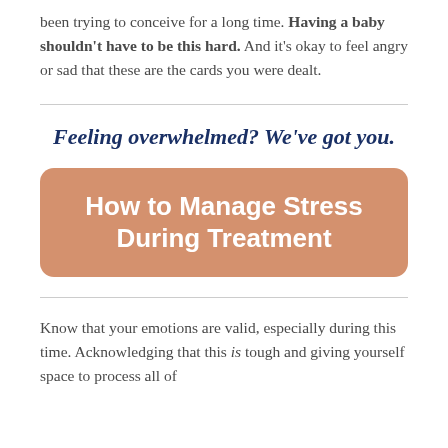been trying to conceive for a long time. Having a baby shouldn't have to be this hard. And it's okay to feel angry or sad that these are the cards you were dealt.
Feeling overwhelmed? We've got you.
How to Manage Stress During Treatment
Know that your emotions are valid, especially during this time. Acknowledging that this is tough and giving yourself space to process all of